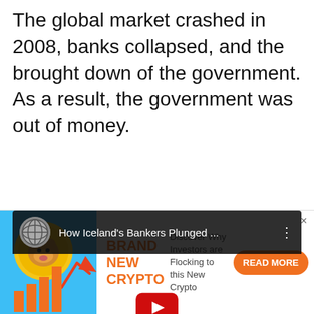The global market crashed in 2008, banks collapsed, and the brought down of the government. As a result, the government was out of money.
[Figure (screenshot): Embedded YouTube video thumbnail showing 'How Iceland's Bankers Plunged ...' with a dark background, two people visible, a red YouTube play button in the center, a globe channel icon in the top left, and a globe thumbnail in the bottom right.]
[Figure (infographic): Advertisement banner for a new cryptocurrency. Shows a cartoon dog coin with a rising arrow and bar chart on a blue background. Reads 'BRAND NEW CRYPTO' in orange, 'Discover Why Investors are Flocking to this New Crypto', and a 'READ MORE' orange button.]